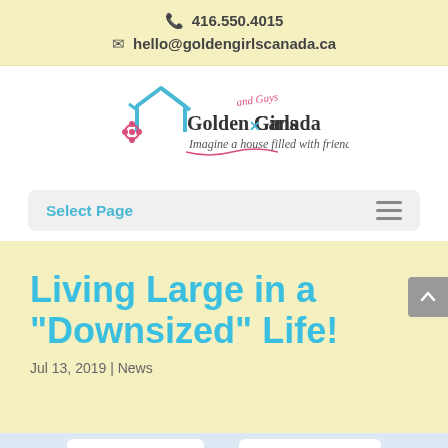📞 416.550.4015  ✉ hello@goldengirlscanada.ca
[Figure (logo): Golden Girls and Guys Canada logo with house roof icon and tagline: Imagine a house filled with friends!]
Select Page
Living Large in a "Downsized" Life!
Jul 13, 2019 | News
[Figure (photo): Partial view of two cards or signs, one reading 'to keep' and another reading 'to throw']